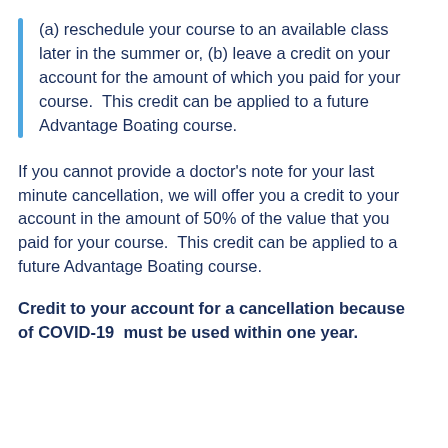(a) reschedule your course to an available class later in the summer or, (b) leave a credit on your account for the amount of which you paid for your course.  This credit can be applied to a future Advantage Boating course.
If you cannot provide a doctor's note for your last minute cancellation, we will offer you a credit to your account in the amount of 50% of the value that you paid for your course.  This credit can be applied to a future Advantage Boating course.
Credit to your account for a cancellation because of COVID-19  must be used within one year.